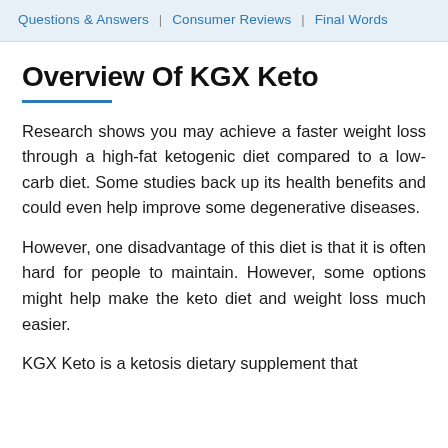Questions & Answers  |  Consumer Reviews  |  Final Words
Overview Of KGX Keto
Research shows you may achieve a faster weight loss through a high-fat ketogenic diet compared to a low-carb diet. Some studies back up its health benefits and could even help improve some degenerative diseases.
However, one disadvantage of this diet is that it is often hard for people to maintain. However, some options might help make the keto diet and weight loss much easier.
KGX Keto is a ketosis dietary supplement that